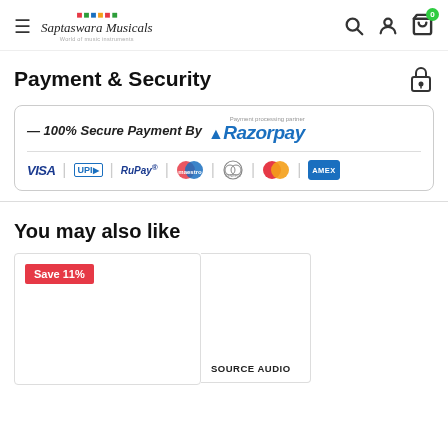Saptaswara Musicals — Navigation header with search, account, and cart icons
Payment & Security
[Figure (infographic): Razorpay payment processing partner banner showing 100% Secure Payment By Razorpay with payment method logos: VISA, UPI, RuPay, Maestro, Diners Club International, MasterCard, American Express]
You may also like
[Figure (photo): Product card with Save 11% badge (red)]
SOURCE AUDIO